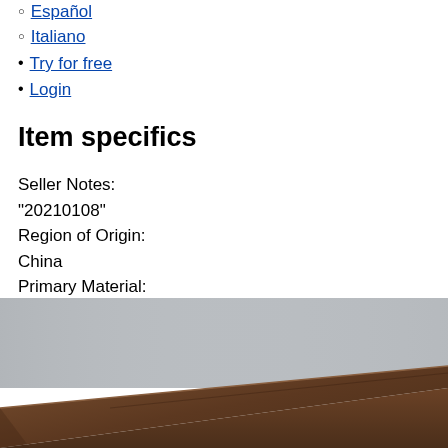Español
Italiano
Try for free
Login
Item specifics
Seller Notes:
"20210108"
Region of Origin:
China
Primary Material:
Wood
[Figure (photo): Photo of a dark brown wooden table or desk surface photographed from above at an angle, against a light grey wall background.]